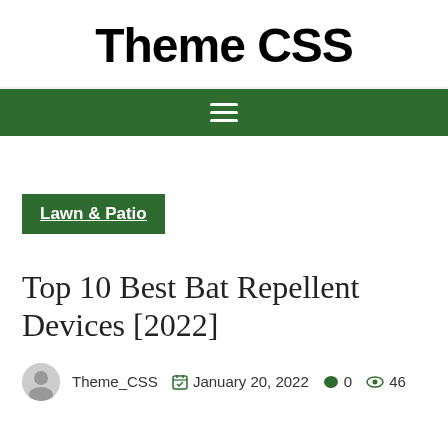Theme CSS
[Figure (other): Green navigation bar with hamburger menu icon (three white horizontal lines)]
Lawn & Patio
Top 10 Best Bat Repellent Devices [2022]
Theme_CSS  January 20, 2022  0  46